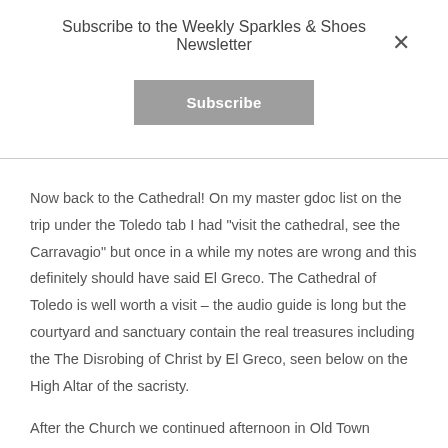Subscribe to the Weekly Sparkles & Shoes Newsletter
Subscribe
Now back to the Cathedral!  On my master gdoc list on the trip under the Toledo tab I had "visit the cathedral, see the Carravagio" but once in a while my notes are wrong and this definitely should have said El Greco.  The Cathedral of Toledo is well worth a visit – the audio guide is long but the courtyard and sanctuary contain the real treasures including the  The Disrobing of Christ by El Greco, seen below on the High Altar of the sacristy.
After the Church we continued afternoon in Old Town